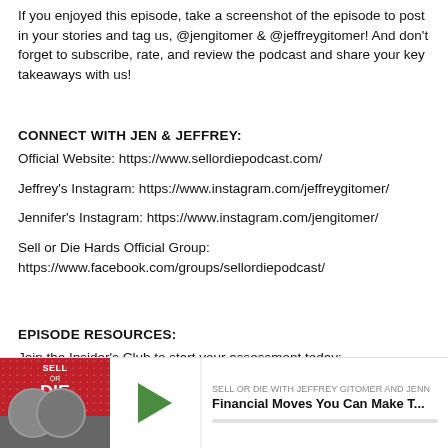If you enjoyed this episode, take a screenshot of the episode to post in your stories and tag us, @jengitomer & @jeffreygitomer! And don't forget to subscribe, rate, and review the podcast and share your key takeaways with us!
CONNECT WITH JEN & JEFFREY:
Official Website: https://www.sellordiepodcast.com/
Jeffrey's Instagram: https://www.instagram.com/jeffreygitomer/
Jennifer's Instagram: https://www.instagram.com/jengitomer/
Sell or Die Hards Official Group:
https://www.facebook.com/groups/sellordiepodcast/
EPISODE RESOURCES:
Join the Insider's Club to start your assessment today:
https://www.gitomer.com/insidersclub/
[Figure (other): Podcast player banner showing Sell or Die podcast with Jeffrey Gitomer and Jennifer Gitomer, with a play button and episode title 'Financial Moves You Can Make T...']